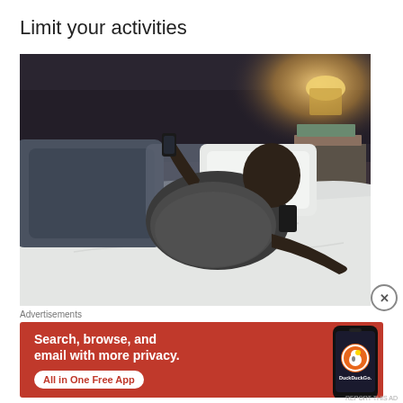Limit your activities
[Figure (photo): A man lying in bed on white bedding with dark blue/gray pillows, appearing to rest or sleep. A glowing lamp and books are visible on the nightstand to the right.]
Advertisements
[Figure (infographic): DuckDuckGo advertisement banner with orange/red background. Text reads: 'Search, browse, and email with more privacy. All in One Free App' with DuckDuckGo logo and a phone graphic.]